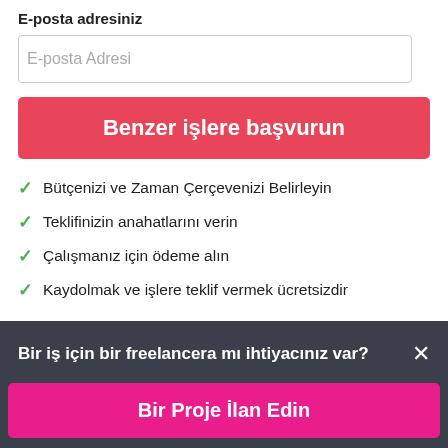E-posta adresiniz
E-posta Adresi
Benzer işlere başvurun
Bütçenizi ve Zaman Çerçevenizi Belirleyin
Teklifinizin anahatlarını verin
Çalışmanız için ödeme alın
Kaydolmak ve işlere teklif vermek ücretsizdir
Bir iş için bir freelancera mı ihtiyacınız var?
Bir Proje İlan Edin